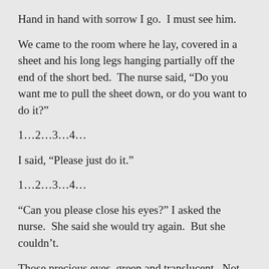Hand in hand with sorrow I go.  I must see him.
We came to the room where he lay, covered in a sheet and his long legs hanging partially off the end of the short bed.  The nurse said, “Do you want me to pull the sheet down, or do you want to do it?”
1…2…3…4…
I said, “Please just do it.”
1…2…3…4…
“Can you please close his eyes?” I asked the nurse.  She said she would try again.  But she couldn’t.
Those precious eyes, green and translucent.  Not ready to be closed, so still and peaceful.  This